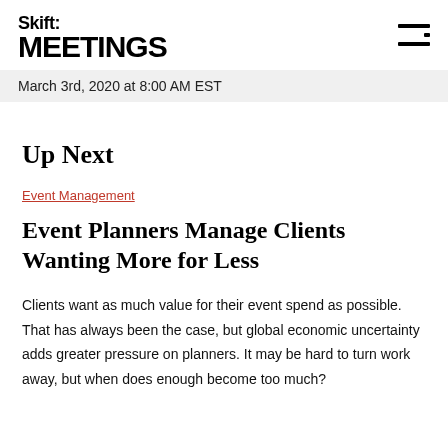Skift MEETINGS
March 3rd, 2020 at 8:00 AM EST
Up Next
Event Management
Event Planners Manage Clients Wanting More for Less
Clients want as much value for their event spend as possible. That has always been the case, but global economic uncertainty adds greater pressure on planners. It may be hard to turn work away, but when does enough become too much?